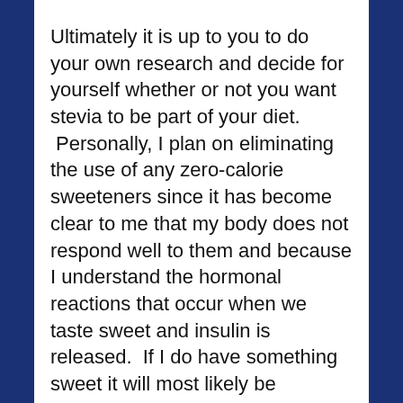Ultimately it is up to you to do your own research and decide for yourself whether or not you want stevia to be part of your diet.
 Personally, I plan on eliminating the use of any zero-calorie sweeteners since it has become clear to me that my body does not respond well to them and because I understand the hormonal reactions that occur when we taste sweet and insulin is released.  If I do have something sweet it will most likely be sweetened it with dates or raw honey since they are whole food sources...some coconut sugar may make its way in there too.

I want to reiterate that we are all